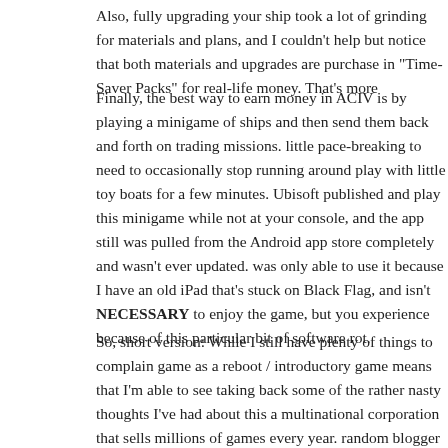Also, fully upgrading your ship took a lot of grinding for materials and plans, and I couldn't help but notice that both materials and upgrades are purchase in "Time-Saver Packs" for real-life money. That's mor…
Finally, the best way to earn money in ACIV is by playing a minigame of ships and then send them back and forth on trading missions. little pace-breaking to need to occasionally stop running around play with little toy boats for a few minutes. Ubisoft published an app to play this minigame while not at your console, and the app still w… pulled from the Android app store completely and wasn't ever u… was only able to use it because I have an old iPad that's stuck on… Black Flag, and isn't NECESSARY to enjoy the game, but you experience because of this particular bit of software rot.
So, short version: While I still have plenty of things to complain… game as a reboot / introductory game means that I'm able to see… taking back some of the rather nasty thoughts I've had about thi… a multinational corporation that sells millions of games every ye… random blogger has forgiven them.